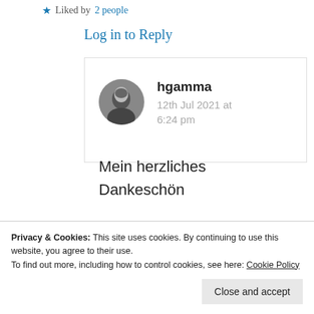★ Liked by 2 people
Log in to Reply
hgamma
12th Jul 2021 at 6:24 pm
Mein herzliches Dankeschön
Privacy & Cookies: This site uses cookies. By continuing to use this website, you agree to their use.
To find out more, including how to control cookies, see here: Cookie Policy
Close and accept